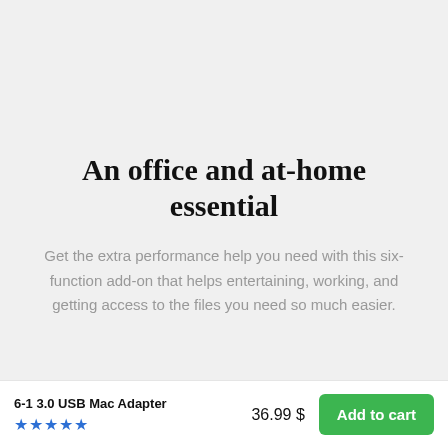An office and at-home essential
Get the extra performance help you need with this six-function add-on that helps entertaining, working, and getting access to the files you need so much easier.
6-1 3.0 USB Mac Adapter
36.99 $
Add to cart